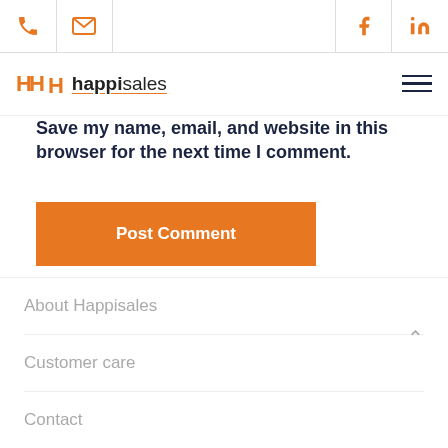[phone icon] [email icon] [facebook icon] [linkedin icon]
[Figure (logo): Happisales logo with orange H icon and underlined text]
Save my name, email, and website in this browser for the next time I comment.
Post Comment
About Happisales
Customer care
Contact